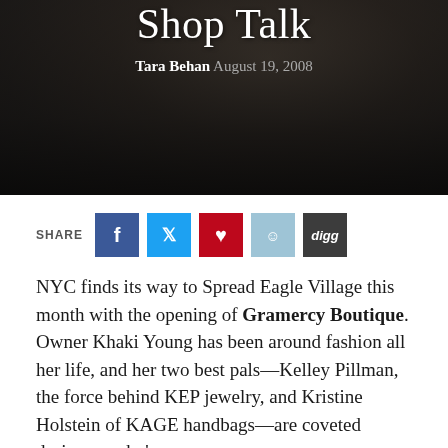[Figure (photo): Dark hero image with hands visible, overlaid with article title and byline]
Shop Talk
Tara Behan August 19, 2008
[Figure (infographic): Social share buttons: Facebook, Twitter, Pinterest, Reddit, Digg]
NYC finds its way to Spread Eagle Village this month with the opening of Gramercy Boutique. Owner Khaki Young has been around fashion all her life, and her two best pals—Kelley Pillman, the force behind KEP jewelry, and Kristine Holstein of KAGE handbags—are coveted designers who've